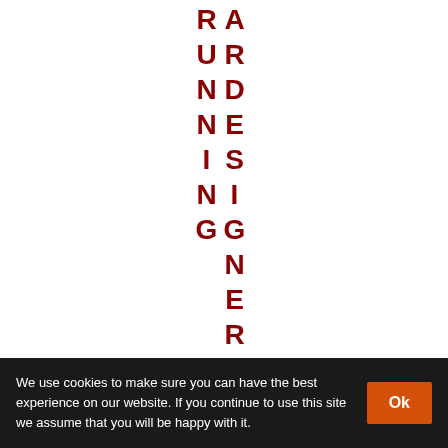ARDESIGNER-RUNNING
We use cookies to make sure you can have the best experience on our website. If you continue to use this site we assume that you will be happy with it. Ok